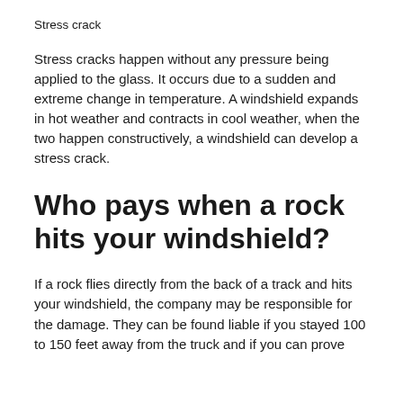Stress crack
Stress cracks happen without any pressure being applied to the glass. It occurs due to a sudden and extreme change in temperature. A windshield expands in hot weather and contracts in cool weather, when the two happen constructively, a windshield can develop a stress crack.
Who pays when a rock hits your windshield?
If a rock flies directly from the back of a track and hits your windshield, the company may be responsible for the damage. They can be found liable if you stayed 100 to 150 feet away from the truck and if you can prove...